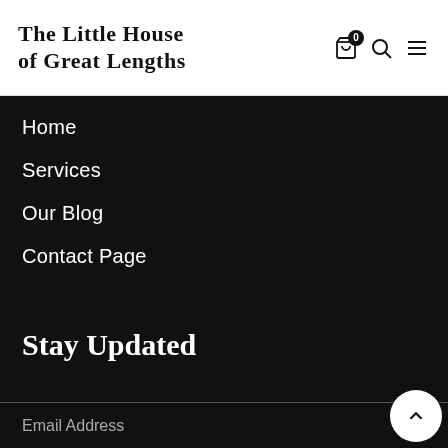The Little House of Great Lengths
Home
Services
Our Blog
Contact Page
Stay Updated
Email Address